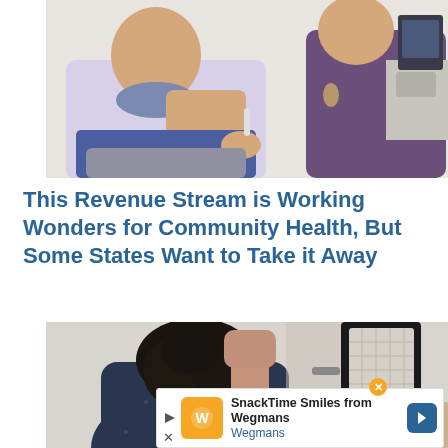[Figure (photo): A person in a light lavender shirt receiving a vaccination or injection in the upper arm from a healthcare worker in a dark purple top, in a clinical office setting with a phone and computer visible in background.]
This Revenue Stream is Working Wonders for Community Health, But Some States Want to Take it Away
[Figure (photo): A person with dark curly hair, seen from behind, reaching up with a fist toward a black-framed air filtration unit mounted on a wall. The person is wearing a dark navy patterned top. Office/clinical setting visible in background.]
SnackTime Smiles from Wegmans
Wegmans